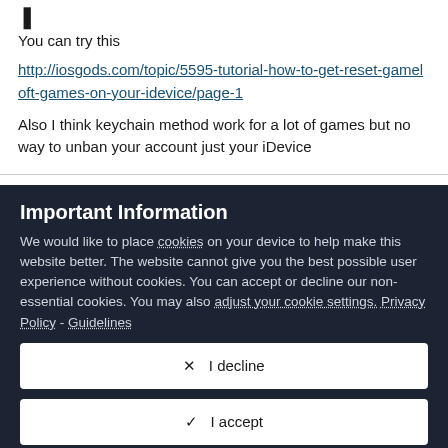You can try this
http://iosgods.com/topic/5595-tutorial-how-to-get-reset-gameloft-games-on-your-idevice/page-1
Also I think keychain method work for a lot of games but no way to unban your account just your iDevice
Important Information
We would like to place cookies on your device to help make this website better. The website cannot give you the best possible user experience without cookies. You can accept or decline our non-essential cookies. You may also adjust your cookie settings. Privacy Policy - Guidelines
✕  I decline
✓  I accept